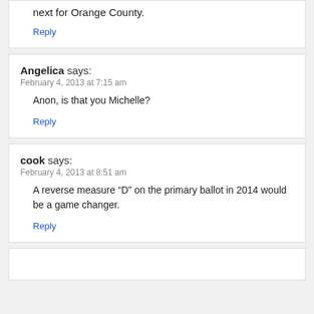next for Orange County.
Reply
Angelica says:
February 4, 2013 at 7:15 am
Anon, is that you Michelle?
Reply
cook says:
February 4, 2013 at 8:51 am
A reverse measure “D” on the primary ballot in 2014 would be a game changer.
Reply